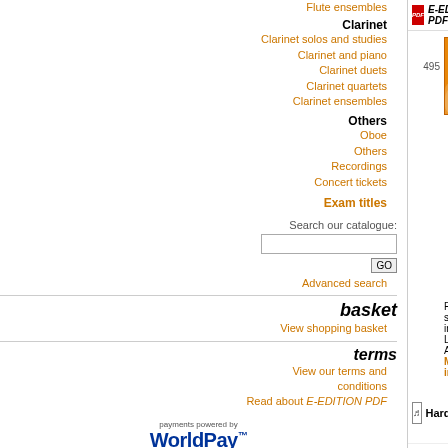Flute ensembles
Clarinet
Clarinet solos and studies
Clarinet and piano
Clarinet duets
Clarinet quartets
Clarinet ensembles
Others
Oboe
Others
Recordings
Concert tickets
Exam titles
Search our catalogue:
Advanced search
basket
View shopping basket
terms
View our terms and conditions
Read about E-EDITION PDF
[Figure (logo): WorldPay payments logo]
Antología Latina - saxophone ensemble edition. Claire Tomsett. Difficulty: D. Instrumentation: s s/a a a t t. Fiery scenes in Latin America...
Hard-copy Score and Parts (In stock)
E-EDITION PDF Complete - Score & Parts
Arcadia - saxophone ensemble edition. Alastair Penman. Difficulty: B. Instrumentation: s/a a a a t/a. Two fun but easy pieces with flexible parts!
Hard-copy Score and Parts (Published)
E-EDITION PDF Complete - Score & Parts
Beat Up Boogie - saxophone ensemble edition. Craig Rickards, Nigel Wood (a...